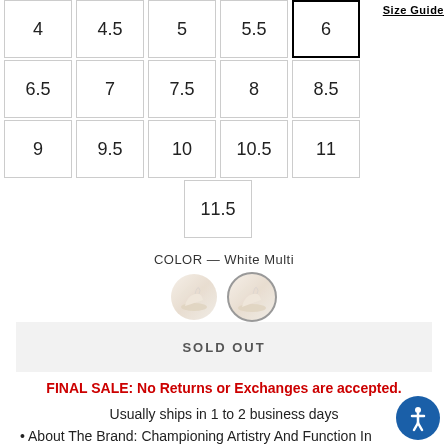Size Guide
| 4 | 4.5 | 5 | 5.5 | 6 (selected) |
| 6.5 | 7 | 7.5 | 8 | 8.5 |
| 9 | 9.5 | 10 | 10.5 | 11 |
| 11.5 |
COLOR — White Multi
[Figure (illustration): Two color swatches for shoes — a plain swatch and a selected (circled) swatch showing a white multi heel shoe]
SOLD OUT
FINAL SALE: No Returns or Exchanges are accepted.
Usually ships in 1 to 2 business days
About The Brand: Championing Artistry And Function In